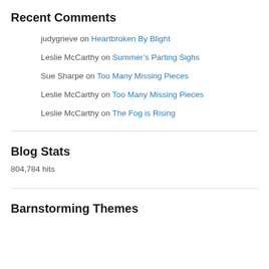Recent Comments
judygrieve on Heartbroken By Blight
Leslie McCarthy on Summer's Parting Sighs
Sue Sharpe on Too Many Missing Pieces
Leslie McCarthy on Too Many Missing Pieces
Leslie McCarthy on The Fog is Rising
Blog Stats
804,784 hits
Barnstorming Themes